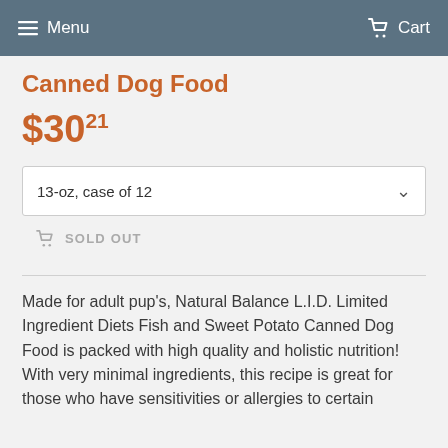Menu   Cart
Canned Dog Food
$30.21
13-oz, case of 12
SOLD OUT
Made for adult pup's, Natural Balance L.I.D. Limited Ingredient Diets Fish and Sweet Potato Canned Dog Food is packed with high quality and holistic nutrition! With very minimal ingredients, this recipe is great for those who have sensitivities or allergies to certain